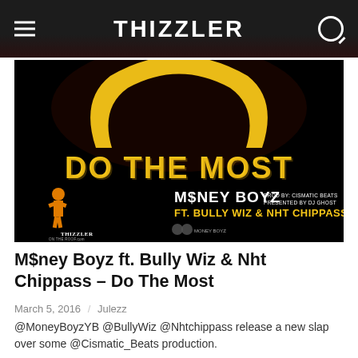THIZZLER
[Figure (screenshot): Music video thumbnail showing 'DO THE MOST' text in graffiti style yellow lettering on black background. Bottom shows M$NEY BOYZ logo and text: M$NEY BOYZ FT. BULLY WIZ & NHT CHIPPASS, PROD BY: CISMATIC BEATS, PRESENTED BY DJ GHOST. Thizzler On The Roof logo at bottom left.]
M$ney Boyz ft. Bully Wiz & Nht Chippass – Do The Most
March 5, 2016  /  Julezz
@MoneyBoyzYB @BullyWiz @Nhtchippass release a new slap over some @Cismatic_Beats production.